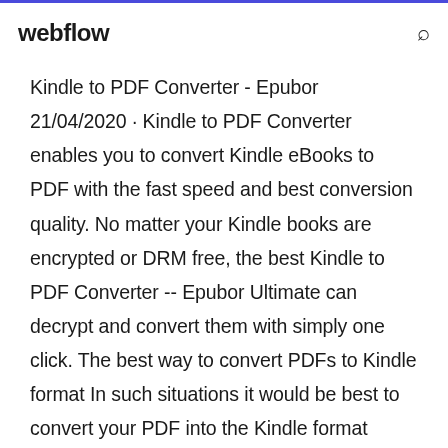webflow
Kindle to PDF Converter - Epubor 21/04/2020 · Kindle to PDF Converter enables you to convert Kindle eBooks to PDF with the fast speed and best conversion quality. No matter your Kindle books are encrypted or DRM free, the best Kindle to PDF Converter -- Epubor Ultimate can decrypt and convert them with simply one click. The best way to convert PDFs to Kindle format In such situations it would be best to convert your PDF into the Kindle format (azw). Many people use free software such as Calibre to perform such conversions, but you won't always get accurate results with it. There's a chance that the formatting will be wrong,